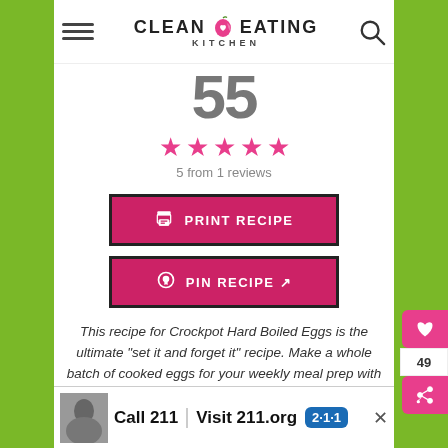CLEAN EATING KITCHEN
55
[Figure (other): Five pink/magenta star rating icons]
5 from 1 reviews
PRINT RECIPE
PIN RECIPE
This recipe for Crockpot Hard Boiled Eggs is the ultimate “set it and forget it” recipe. Make a whole batch of cooked eggs for your weekly meal prep with zero effort.
[Figure (screenshot): Advertisement banner: Call 211 | Visit 211.org with blue 2-1-1 badge]